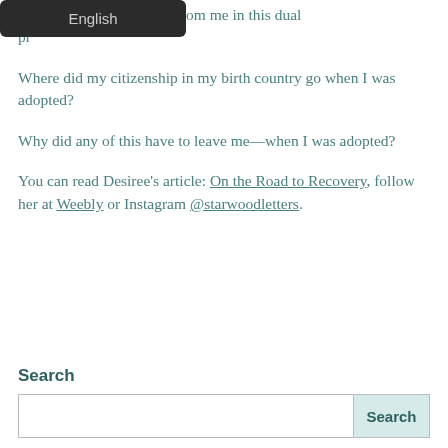W…ere taken away from me in this dual pr…
Where did my citizenship in my birth country go when I was adopted?
Why did any of this have to leave me—when I was adopted?
You can read Desiree's article: On the Road to Recovery, follow her at Weebly or Instagram @starwoodletters.
Search